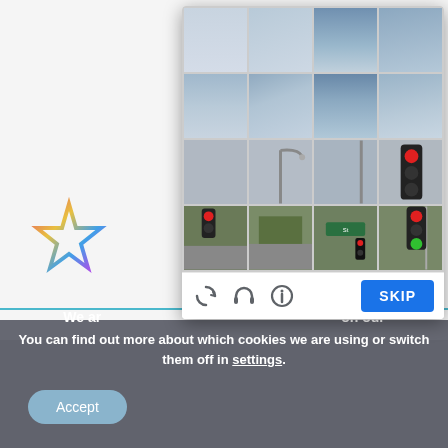[Figure (screenshot): CAPTCHA image grid (4x4) showing street scene with traffic lights, street poles, and sky. Overlaid on a website background showing a star logo.]
Ho ... icy
[Figure (screenshot): CAPTCHA controls bar with reload icon, headphones icon, info icon, and blue SKIP button]
We ar... on our
You can find out more about which cookies we are using or switch them off in settings.
Accept